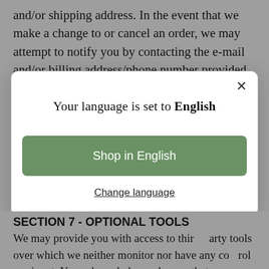and/or shipping address. In the event that we make a change to or cancel an order, we may attempt to notify you by contacting the e-mail and/or billing address/phone number provided at the time the order was made. We reserve the right to limit or prohibit orders that, in our sole judgment, appear to
[Figure (screenshot): Modal dialog with white background and rounded corners. Contains title 'Your language is set to English', a green 'Shop in English' button, and a 'Change language' underlined link. Close (×) button in top right corner.]
SECTION 7 - OPTIONAL TOOLS
We may provide you with access to third-party tools over which we neither monitor nor have any control nor input. You acknowledge and agree that we provide access to such